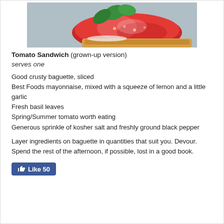[Figure (photo): Close-up photo of a tomato sandwich on baguette with basil leaves and sliced tomatoes]
Tomato Sandwich (grown-up version)
serves one
Good crusty baguette, sliced
Best Foods mayonnaise, mixed with a squeeze of lemon and a little garlic
Fresh basil leaves
Spring/Summer tomato worth eating
Generous sprinkle of kosher salt and freshly ground black pepper
Layer ingredients on baguette in quantities that suit you. Devour. Spend the rest of the afternoon, if possible, lost in a good book.
[Figure (other): Facebook Like button showing 50 likes]